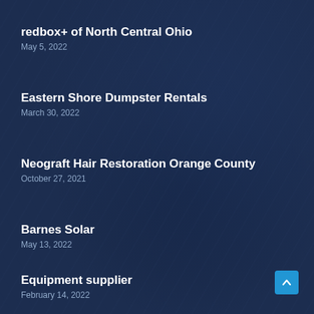redbox+ of North Central Ohio
May 5, 2022
Eastern Shore Dumpster Rentals
March 30, 2022
Neograft Hair Restoration Orange County
October 27, 2021
Barnes Solar
May 13, 2022
Equipment supplier
February 14, 2022